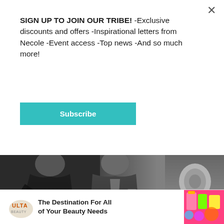SIGN UP TO JOIN OUR TRIBE! -Exclusive discounts and offers -Inspirational letters from Necole -Event access -Top news -And so much more!
Subscribe
[Figure (photo): A man and woman posing at the Grammy Awards red carpet. The woman is wearing a black outfit and the man is in a dark suit. A Grammy Award logo is visible in the background.]
DFree / Shutterstock.com
[Figure (infographic): ULTA Beauty advertisement banner: 'The Destination For All of Your Beauty Needs' with colorful beauty product imagery on the right.]